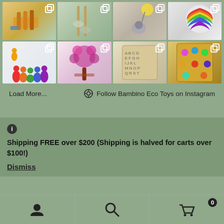[Figure (screenshot): Grid of 8 product images from Instagram feed showing eco toys: wooden hammer toy, garden tools set, felt animal keychain, rainbow felt ball, colorful peg people, felt flowers and tree, wooden alphabet puzzle pieces, wooden maze with colored gems.]
Load More...
Follow Bambino Eco Toys on Instagram
Shipping FREE over $200 (Shipping is halved for carts over $100!)
Dismiss
[Figure (infographic): Bottom navigation bar with three icons: person/account icon, search magnifying glass icon, shopping cart icon with badge showing 0]